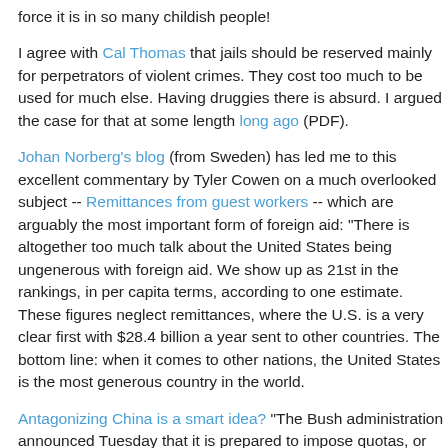force it is in so many childish people!
I agree with Cal Thomas that jails should be reserved mainly for perpetrators of violent crimes. They cost too much to be used for much else. Having druggies there is absurd. I argued the case for that at some length long ago (PDF).
Johan Norberg's blog (from Sweden) has led me to this excellent commentary by Tyler Cowen on a much overlooked subject -- Remittances from guest workers -- which are arguably the most important form of foreign aid: "There is altogether too much talk about the United States being ungenerous with foreign aid. We show up as 21st in the rankings, in per capita terms, according to one estimate. These figures neglect remittances, where the U.S. is a very clear first with $28.4 billion a year sent to other countries. The bottom line: when it comes to other nations, the United States is the most generous country in the world.
Antagonizing China is a smart idea? "The Bush administration announced Tuesday that it is prepared to impose quotas, or safeguards, on three categories of textile